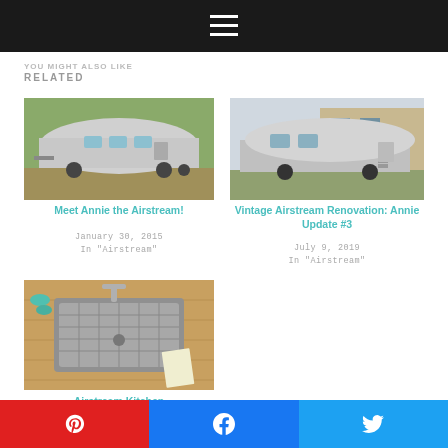Navigation menu
RELATED
[Figure (photo): Silver Airstream trailer being towed on a road]
Meet Annie the Airstream!
January 30, 2015
In "Airstream"
[Figure (photo): Vintage silver Airstream trailer parked outdoors near a building]
Vintage Airstream Renovation: Annie Update #3
July 9, 2019
In "Airstream"
[Figure (photo): Airstream kitchen sink with wooden countertop]
Airstream Kitchen
Pinterest | Facebook | Twitter share buttons